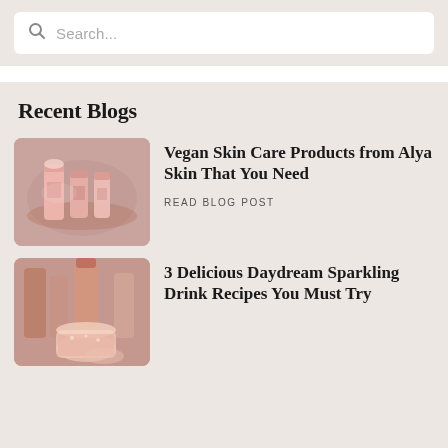[Figure (screenshot): Search bar with magnifying glass icon and placeholder text 'Search...' on a light beige background]
Recent Blogs
[Figure (photo): Pink skincare product bottles and tubes from Alya Skin arranged on a mirrored tray]
Vegan Skin Care Products from Alya Skin That You Need
READ BLOG POST
[Figure (photo): Pink sparkling drinks in glasses with bottles in the background]
3 Delicious Daydream Sparkling Drink Recipes You Must Try